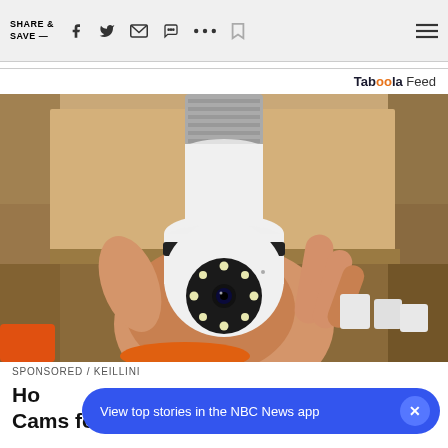SHARE & SAVE —
Taboola Feed
[Figure (photo): A hand holding a white security camera shaped like a light bulb with an E27 screw base, featuring a rotating dome with LED lights and a camera lens. The background shows wooden shelving and packaged products.]
SPONSORED / KEILLINI
Ho... Cams for This.
View top stories in the NBC News app